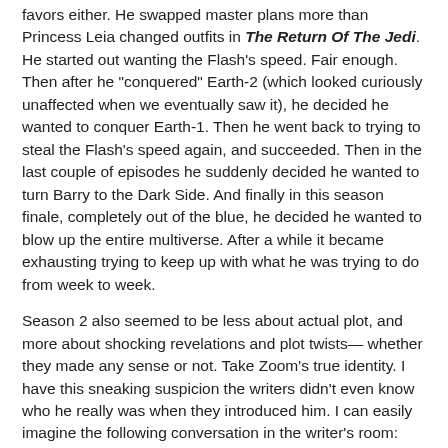favors either. He swapped master plans more than Princess Leia changed outfits in The Return Of The Jedi. He started out wanting the Flash's speed. Fair enough. Then after he "conquered" Earth-2 (which looked curiously unaffected when we eventually saw it), he decided he wanted to conquer Earth-1. Then he went back to trying to steal the Flash's speed again, and succeeded. Then in the last couple of episodes he suddenly decided he wanted to turn Barry to the Dark Side. And finally in this season finale, completely out of the blue, he decided he wanted to blow up the entire multiverse. After a while it became exhausting trying to keep up with what he was trying to do from week to week.
Season 2 also seemed to be less about actual plot, and more about shocking revelations and plot twists— whether they made any sense or not. Take Zoom's true identity. I have this sneaking suspicion the writers didn't even know who he really was when they introduced him. I can easily imagine the following conversation in the writer's room:
Writer #1: "Guys, I have an amazing idea! What if we say Zoom is really Jay Garrick?"